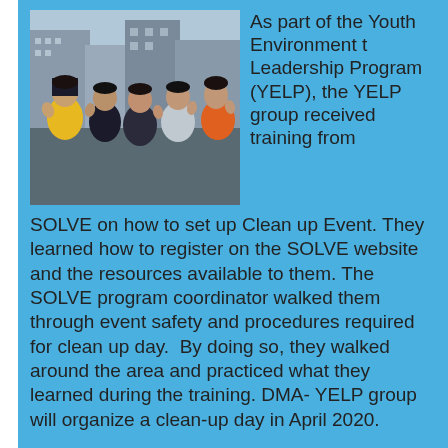[Figure (photo): Group of five young people posing outdoors in an urban setting, making peace/wave signs with their hands. One person wears a yellow jacket, another wears an orange safety vest.]
As part of the Youth Environment t Leadership Program (YELP), the YELP group received training from SOLVE on how to set up Clean up Event. They learned how to register on the SOLVE website and the resources available to them. The SOLVE program coordinator walked them through event safety and procedures required for clean up day. By doing so, they walked around the area and practiced what they learned during the training. DMA- YELP group will organize a clean-up day in April 2020.